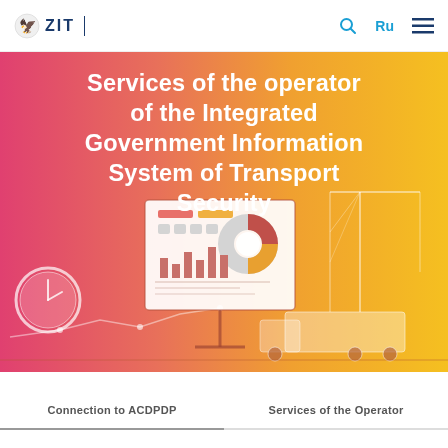ZIT
Services of the operator of the Integrated Government Information System of Transport Security
[Figure (illustration): Hero banner illustration showing a presentation board with charts/donut chart, transport trucks, shipping cranes, and a clock, overlaid on a pink-to-yellow gradient background]
Connection to ACDPDP
Services of the Operator